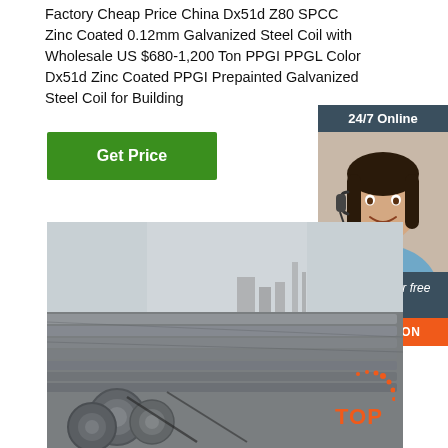Factory Cheap Price China Dx51d Z80 SPCC Zinc Coated 0.12mm Galvanized Steel Coil with Wholesale US $680-1,200 Ton PPGI PPGL Color Dx51d Zinc Coated PPGI Prepainted Galvanized Steel Coil for Building
[Figure (other): Green 'Get Price' button]
[Figure (infographic): Side panel with '24/7 Online' badge, customer service agent photo (woman with headset smiling), 'Click here for free chat!' text, and orange QUOTATION button]
[Figure (photo): Industrial photo of galvanized steel coils/rods stacked at a factory yard with industrial buildings in background]
[Figure (logo): Orange 'TOP' badge with dotted arc above the text in bottom-right corner]